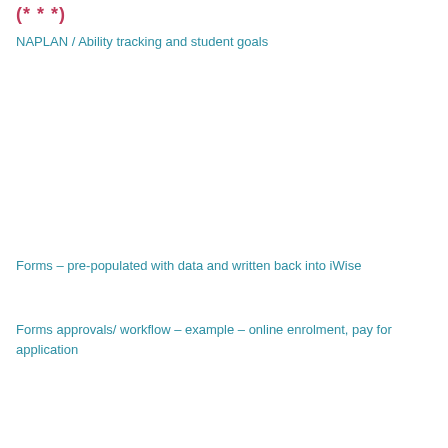(***)
NAPLAN / Ability tracking and student goals
Forms – pre-populated with data and written back into iWise
Forms approvals/ workflow – example – online enrolment, pay for application